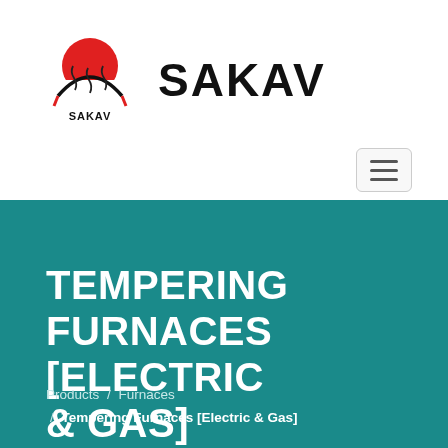[Figure (logo): SAKAV company logo: red semicircle sun above an industrial furnace/kiln outline in red and black, with SAKAV text below in black]
SAKAV
[Figure (other): Hamburger menu button (three horizontal lines) with rounded rectangle border]
TEMPERING FURNACES [ELECTRIC & GAS]
Products / Furnaces / Tempering Furnaces [Electric & Gas]